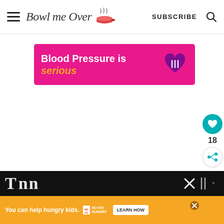Bowl me Over — SUBSCRIBE
[Figure (infographic): Pink advertisement banner: 'Blood Pressure is serious' with a purple heart icon with white utensil marks]
[Figure (infographic): Floating teal heart/like button with count 18 and share button]
[Figure (infographic): What's Next panel: Easy Lemon Bar Recipe with thumbnail]
[Figure (infographic): Bottom orange ad bar: 'You can help hungry kids. No Kid Hungry. LEARN HOW' with close button]